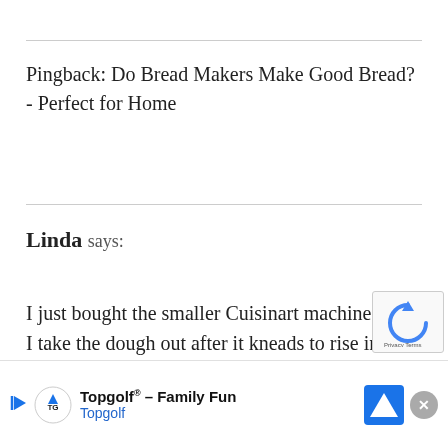Pingback: Do Bread Makers Make Good Bread? - Perfect for Home
Linda says:
I just bought the smaller Cuisinart machine. Can I take the dough out after it kneads to rise in an oiled ... you
[Figure (other): Topgolf advertisement banner with logo, play button, navigation icon, and close button. Text reads: Topgolf® - Family Fun, Topgolf]
[Figure (other): reCAPTCHA widget with Privacy Terms text, partially visible in bottom right corner]